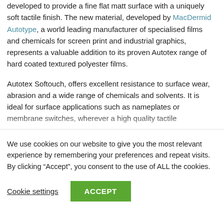developed to provide a fine flat matt surface with a uniquely soft tactile finish. The new material, developed by MacDermid Autotype, a world leading manufacturer of specialised films and chemicals for screen print and industrial graphics, represents a valuable addition to its proven Autotex range of hard coated textured polyester films.
Autotex Softouch, offers excellent resistance to surface wear, abrasion and a wide range of chemicals and solvents. It is ideal for surface applications such as nameplates or membrane switches, wherever a high quality tactile
We use cookies on our website to give you the most relevant experience by remembering your preferences and repeat visits. By clicking “Accept”, you consent to the use of ALL the cookies.
Cookie settings
ACCEPT